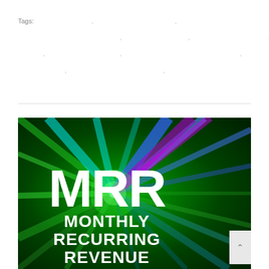Tags: , , , , , , , , , , , , , , , , , ,
[Figure (illustration): MRR Monthly Recurring Revenue banner image with bold white text on a vibrant green, blue, and purple abstract light burst background]